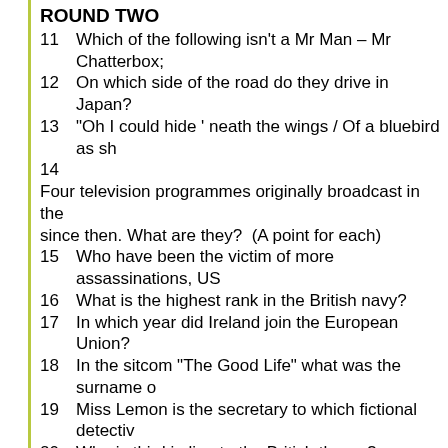ROUND TWO
11   Which of the following isn't a Mr Man – Mr Chatterbox;
12   On which side of the road do they drive in Japan?
13   "Oh I could hide ' neath the wings / Of a bluebird as sh
14   Four television programmes originally broadcast in the since then. What are they?  (A point for each)
15   Who have been the victim of more assassinations, US
16   What is the highest rank in the British navy?
17   In which year did Ireland join the European Union?
18   In the sitcom "The Good Life" what was the surname o
19   Miss Lemon is the secretary to which fictional detectiv
20   Who is third in line to the British throne?
ROUND THREE
21   According to Google, what were the most Google sear Baby;  (b) Paul Walker; or (c) iPhone 5?
22   In 2013 it was confirmed that Voyager 1 had been the
23   Which of the following didn't die in 2013 :  (a) Esther H W Bush – 41st President of the USA; (c) Seamus Heane
24   Who won the 2013 Edition of I'm a Celebrity Get Me
25   Who was the winner of Time Magazine Person of the